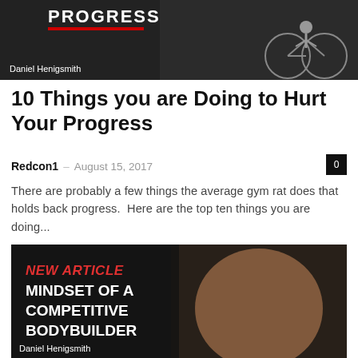[Figure (photo): Dark gym background image with 'PROGRESS' text overlay and a person on bicycle, partially visible at top of page]
Daniel Henigsmith
10 Things you are Doing to Hurt Your Progress
Redcon1 – August 15, 2017
There are probably a few things the average gym rat does that holds back progress.  Here are the top ten things you are doing...
[Figure (photo): Muscular shirtless male bodybuilder in gym with text overlay: NEW ARTICLE MINDSET OF A COMPETITIVE BODYBUILDER]
Daniel Henigsmith